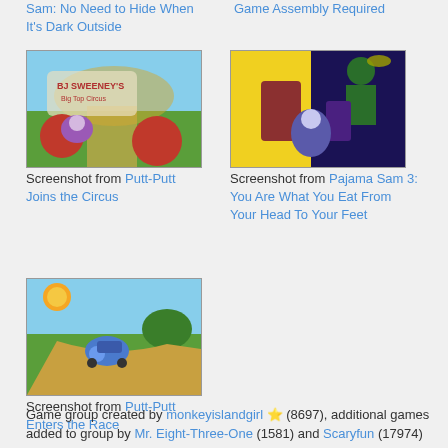Sam: No Need to Hide When It's Dark Outside
Game Assembly Required
[Figure (screenshot): Screenshot from Putt-Putt Joins the Circus - colorful cartoon game scene with a circus theme, purple car character on a road]
Screenshot from Putt-Putt Joins the Circus
[Figure (screenshot): Screenshot from Pajama Sam 3: You Are What You Eat From Your Head To Your Feet - dark nighttime scene with cartoon characters]
Screenshot from Pajama Sam 3: You Are What You Eat From Your Head To Your Feet
[Figure (screenshot): Screenshot from Putt-Putt Enters the Race - colorful cartoon scene with a blue car character on a sunny road with hills]
Screenshot from Putt-Putt Enters the Race
Game group created by monkeyislandgirl ⭐ (8697), additional games added to group by Mr. Eight-Three-One (1581) and Scaryfun (17974)